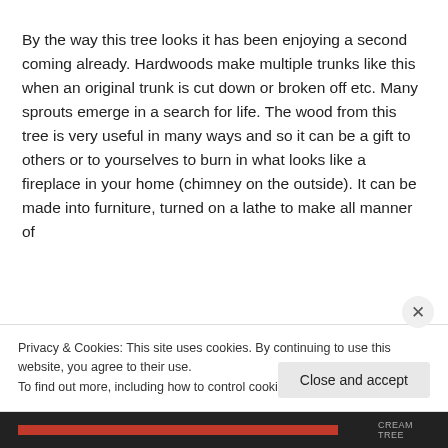By the way this tree looks it has been enjoying a second coming already. Hardwoods make multiple trunks like this when an original trunk is cut down or broken off etc. Many sprouts emerge in a search for life. The wood from this tree is very useful in many ways and so it can be a gift to others or to yourselves to burn in what looks like a fireplace in your home (chimney on the outside). It can be made into furniture, turned on a lathe to make all manner of
Privacy & Cookies: This site uses cookies. By continuing to use this website, you agree to their use.
To find out more, including how to control cookies, see here: Cookie Policy
Close and accept